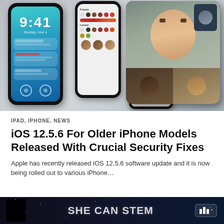[Figure (photo): iOS 12 promotional image showing multiple iPhone and iPad screens with FaceTime, lock screen notifications, and Memoji customization options]
IPAD, IPHONE, NEWS
iOS 12.5.6 For Older iPhone Models Released With Crucial Security Fixes
Apple has recently released iOS 12.5.6 software update and it is now being rolled out to various iPhone...
[Figure (photo): SHE CAN STEM advertisement banner with logo]